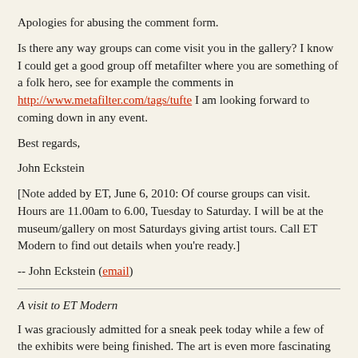Apologies for abusing the comment form.
Is there any way groups can come visit you in the gallery? I know I could get a good group off metafilter where you are something of a folk hero, see for example the comments in http://www.metafilter.com/tags/tufte I am looking forward to coming down in any event.
Best regards,
John Eckstein
[Note added by ET, June 6, 2010: Of course groups can visit. Hours are 11.00am to 6.00, Tuesday to Saturday. I will be at the museum/gallery on most Saturdays giving artist tours. Call ET Modern to find out details when you're ready.]
-- John Eckstein (email)
A visit to ET Modern
I was graciously admitted for a sneak peek today while a few of the exhibits were being finished. The art is even more fascinating live than it is in the flatlands of the web and print. The specular